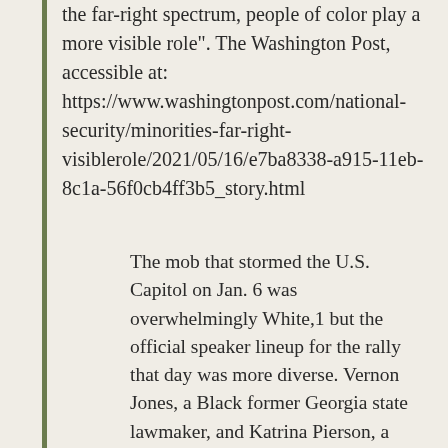the far-right spectrum, people of color play a more visible role". The Washington Post, accessible at: https://www.washingtonpost.com/national-security/minorities-far-right-visiblerole/2021/05/16/e7ba8338-a915-11eb-8c1a-56f0cb4ff3b5_story.html
The mob that stormed the U.S. Capitol on Jan. 6 was overwhelmingly White,1 but the official speaker lineup for the rally that day was more diverse. Vernon Jones, a Black former Georgia state lawmaker, and Katrina Pierson, a Black adviser and former spokeswoman for the Trump campaign, were among